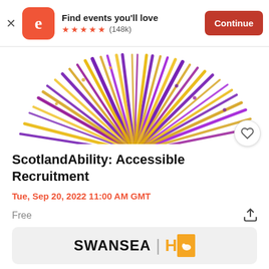[Figure (screenshot): Eventbrite app banner with orange rounded-square logo showing white 'e', text 'Find events you'll love', five orange stars, '(148k)', and orange 'Continue' button]
[Figure (illustration): Partial decorative sunburst/mandala pattern with purple and gold/orange radiating lines on white background]
ScotlandAbility: Accessible Recruitment
Tue, Sep 20, 2022 11:00 AM GMT
Free
[Figure (logo): Swansea HR logo showing 'SWANSEA | HD' with orange block letters and a bird silhouette]